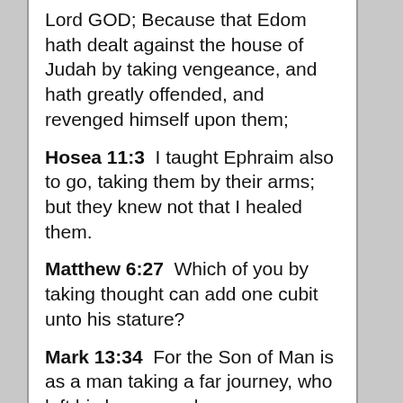Lord GOD; Because that Edom hath dealt against the house of Judah by taking vengeance, and hath greatly offended, and revenged himself upon them;
Hosea 11:3  I taught Ephraim also to go, taking them by their arms; but they knew not that I healed them.
Matthew 6:27  Which of you by taking thought can add one cubit unto his stature?
Mark 13:34  For the Son of Man is as a man taking a far journey, who left his house, and gave